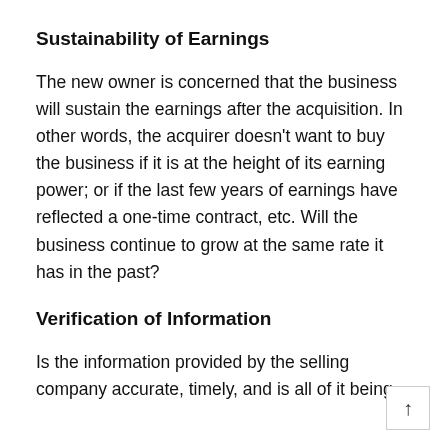Sustainability of Earnings
The new owner is concerned that the business will sustain the earnings after the acquisition. In other words, the acquirer doesn't want to buy the business if it is at the height of its earning power; or if the last few years of earnings have reflected a one-time contract, etc. Will the business continue to grow at the same rate it has in the past?
Verification of Information
Is the information provided by the selling company accurate, timely, and is all of it being made available? At a minimum, buyers want to ensure that